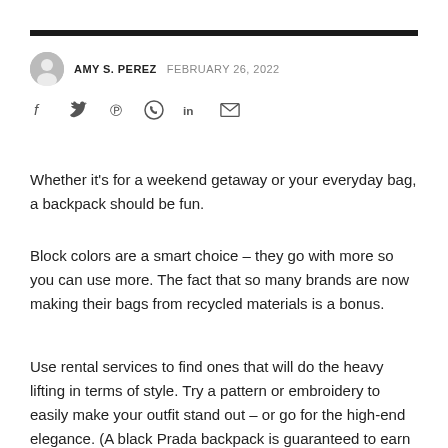AMY S. PEREZ  FEBRUARY 26, 2022
[Figure (infographic): Social sharing icons: Facebook, Twitter, Pinterest, WhatsApp, LinkedIn, Email]
Whether it’s for a weekend getaway or your everyday bag, a backpack should be fun.
Block colors are a smart choice – they go with more so you can use more. The fact that so many brands are now making their bags from recycled materials is a bonus.
Use rental services to find ones that will do the heavy lifting in terms of style. Try a pattern or embroidery to easily make your outfit stand out – or go for the high-end elegance. (A black Prada backpack is guaranteed to earn...